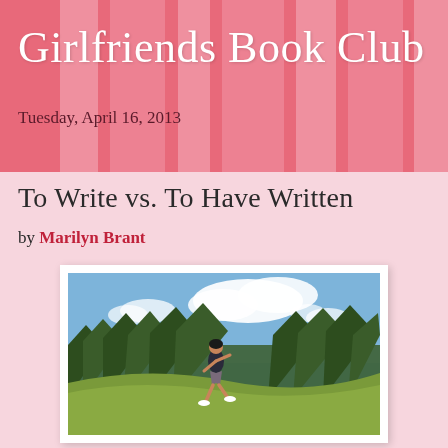Girlfriends Book Club
Tuesday, April 16, 2013
To Write vs. To Have Written
by Marilyn Brant
[Figure (photo): A woman running outdoors on a grassy hillside with trees and blue cloudy sky in the background.]